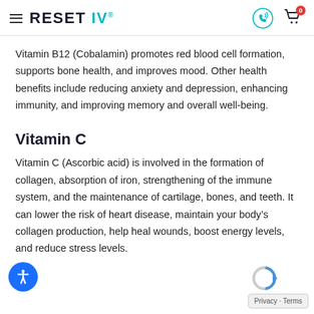RESET IV
Vitamin B12 (Cobalamin) promotes red blood cell formation, supports bone health, and improves mood. Other health benefits include reducing anxiety and depression, enhancing immunity, and improving memory and overall well-being.
Vitamin C
Vitamin C (Ascorbic acid) is involved in the formation of collagen, absorption of iron, strengthening of the immune system, and the maintenance of cartilage, bones, and teeth. It can lower the risk of heart disease, maintain your body’s collagen production, help heal wounds, boost energy levels, and reduce stress levels.